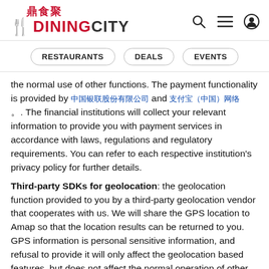鼎食聚 DININGCITY
RESTAURANTS
DEALS
EVENTS
the normal use of other functions. The payment functionality is provided by [Chinese text] and [Chinese text]
。. The financial institutions will collect your relevant information to provide you with payment services in accordance with laws, regulations and regulatory requirements. You can refer to each respective institution's privacy policy for further details.
Third-party SDKs for geolocation: the geolocation function provided to you by a third-party geolocation vendor that cooperates with us. We will share the GPS location to Amap so that the location results can be returned to you. GPS information is personal sensitive information, and refusal to provide it will only affect the geolocation based features, but does not affect the normal operation of other features.